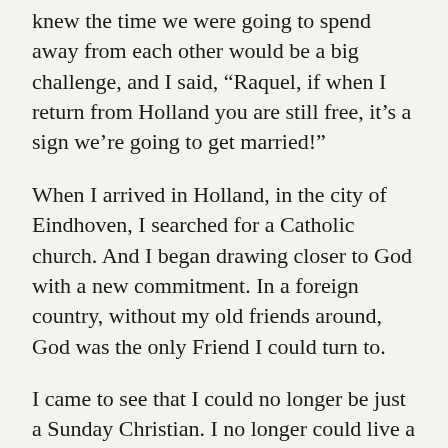knew the time we were going to spend away from each other would be a big challenge, and I said, “Raquel, if when I return from Holland you are still free, it’s a sign we’re going to get married!”
When I arrived in Holland, in the city of Eindhoven, I searched for a Catholic church. And I began drawing closer to God with a new commitment. In a foreign country, without my old friends around, God was the only Friend I could turn to.
I came to see that I could no longer be just a Sunday Christian. I no longer could live a lukewarm commitment. I realized that God has very few friends, and in Holland this perception grew even stronger. I felt God’s presence in a way I